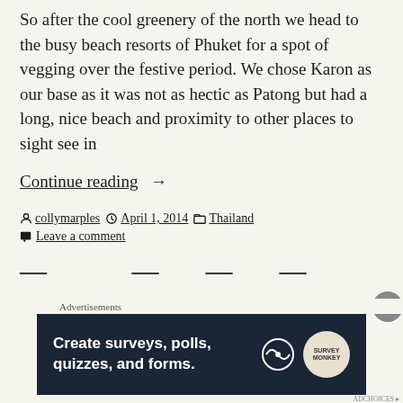So after the cool greenery of the north we head to the busy beach resorts of Phuket for a spot of vegging over the festive period. We chose Karon as our base as it was not as hectic as Patong but had a long, nice beach and proximity to other places to sight see in
Continue reading →
collymarples  April 1, 2014  Thailand  Leave a comment
[Figure (screenshot): Advertisement banner: 'Create surveys, polls, quizzes, and forms.' on dark background with WordPress and SurveyMonkey logos]